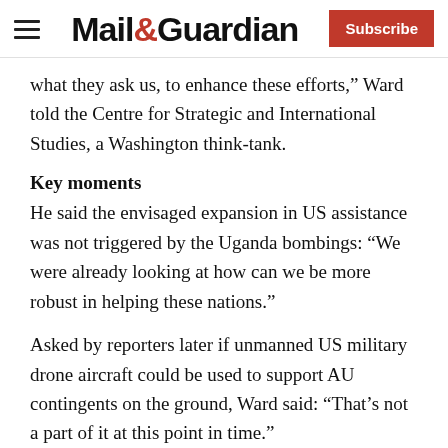Mail&Guardian | Subscribe
what they ask us, to enhance these efforts,” Ward told the Centre for Strategic and International Studies, a Washington think-tank.
Key moments
He said the envisaged expansion in US assistance was not triggered by the Uganda bombings: “We were already looking at how can we be more robust in helping these nations.”
Asked by reporters later if unmanned US military drone aircraft could be used to support AU contingents on the ground, Ward said: “That’s not a part of it at this point in time.”